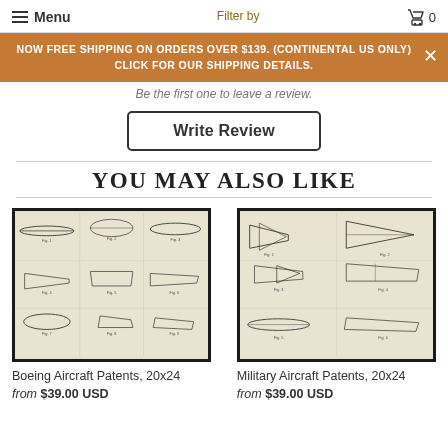Menu  Filter by  0
NOW FREE SHIPPING ON ORDERS OVER $139. (CONTINENTAL US ONLY) CLICK FOR OUR SHIPPING DETAILS.
Be the first one to leave a review.
Write Review
YOU MAY ALSO LIKE
[Figure (photo): Framed print showing multiple Boeing aircraft patent drawings arranged in a grid on aged paper background]
Boeing Aircraft Patents, 20x24
from $39.00 USD
[Figure (photo): Framed print showing multiple Military aircraft patent drawings including stealth and fighter jets arranged in a grid on aged paper background]
Military Aircraft Patents, 20x24
from $39.00 USD